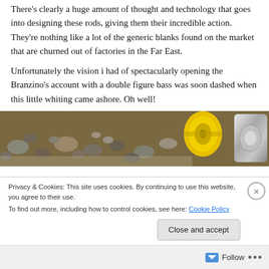There's clearly a huge amount of thought and technology that goes into designing these rods, giving them their incredible action. They're nothing like a lot of the generic blanks found on the market that are churned out of factories in the Far East.
Unfortunately the vision i had of spectacularly opening the Branzino's account with a double figure bass was soon dashed when this little whiting came ashore. Oh well!
[Figure (photo): Photo of fishing reel and pebble beach, showing a yellow reel and silver reel among stones]
Privacy & Cookies: This site uses cookies. By continuing to use this website, you agree to their use.
To find out more, including how to control cookies, see here: Cookie Policy
Follow ...